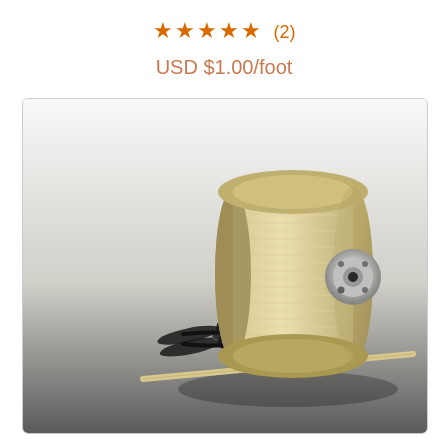★★★★★ (2)
USD $1.00/foot
[Figure (photo): A large spool/reel of cream/beige colored rope or tubing wound around a cylindrical wooden spool with metal end caps. A pair of black scissors and a single length of rope/tubing extending diagonally are shown in front of the spool. The background fades from white at top to dark gray at the bottom of the image box.]